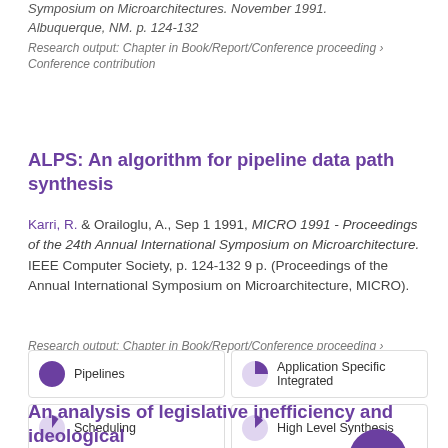Symposium on Microarchitectures. November 1991. Albuquerque, NM. p. 124-132
Research output: Chapter in Book/Report/Conference proceeding › Conference contribution
ALPS: An algorithm for pipeline data path synthesis
Karri, R. & Orailoglu, A., Sep 1 1991, MICRO 1991 - Proceedings of the 24th Annual International Symposium on Microarchitecture. IEEE Computer Society, p. 124-132 9 p. (Proceedings of the Annual International Symposium on Microarchitecture, MICRO).
Research output: Chapter in Book/Report/Conference proceeding › Conference contribution
[Figure (infographic): Keyword relevance badges in a 2-column grid: Pipelines (100%), Application Specific Integrated (~50%), Scheduling (~25%), High Level Synthesis (~30%), Costs (~20%)]
An analysis of legislative inefficiency and ideological